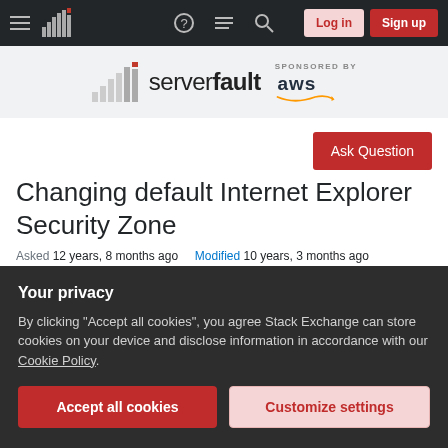ServerFault navigation bar with Log in and Sign up buttons
[Figure (logo): Server Fault logo with bar chart icon and 'serverfault' text, SPONSORED BY aws]
Ask Question
Changing default Internet Explorer Security Zone
Asked 12 years, 8 months ago   Modified 10 years, 3 months ago
Your privacy
By clicking "Accept all cookies", you agree Stack Exchange can store cookies on your device and disclose information in accordance with our Cookie Policy.
Accept all cookies   Customize settings